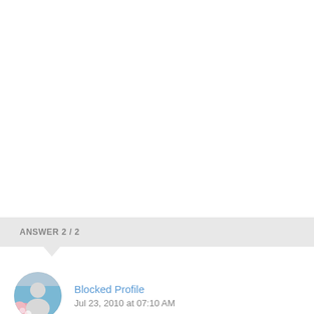ANSWER 2 / 2
[Figure (photo): Circular avatar profile picture showing a blocked/default user silhouette with a blue and pink background]
Blocked Profile
Jul 23, 2010 at 07:10 AM